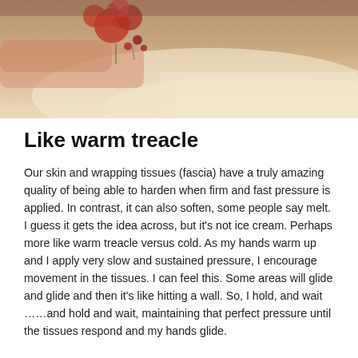[Figure (photo): Photo of a person lying on a massage table with red flowers in the background, warm beige tones]
Like warm treacle
Our skin and wrapping tissues (fascia) have a truly amazing quality of being able to harden when firm and fast pressure is applied. In contrast, it can also soften, some people say melt. I guess it gets the idea across, but it's not ice cream. Perhaps more like warm treacle versus cold. As my hands warm up and I apply very slow and sustained pressure, I encourage movement in the tissues. I can feel this. Some areas will glide and glide and then it's like hitting a wall. So, I hold, and wait ……and hold and wait, maintaining that perfect pressure until the tissues respond and my hands glide.